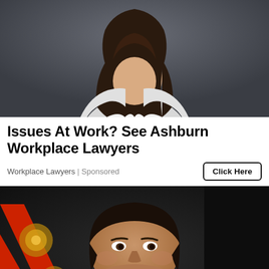[Figure (photo): Professional woman with long dark hair wearing a white blazer, photographed against a dark grey background, cropped to show upper body]
Issues At Work? See Ashburn Workplace Lawyers
Workplace Lawyers | Sponsored
Click Here
[Figure (photo): Close-up portrait of a man with short dark hair against a dark background with red and gold decorative elements visible]